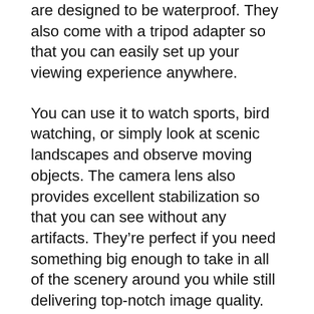are designed to be waterproof. They also come with a tripod adapter so that you can easily set up your viewing experience anywhere.
You can use it to watch sports, bird watching, or simply look at scenic landscapes and observe moving objects. The camera lens also provides excellent stabilization so that you can see without any artifacts. They're perfect if you need something big enough to take in all of the scenery around you while still delivering top-notch image quality.
Let's now talk about its magnification. These binoculars offer a magnification of 12x, which is perfect for viewing large objects. Plus, their tripod adapter allows you to enjoy moments without losing too much about stability.